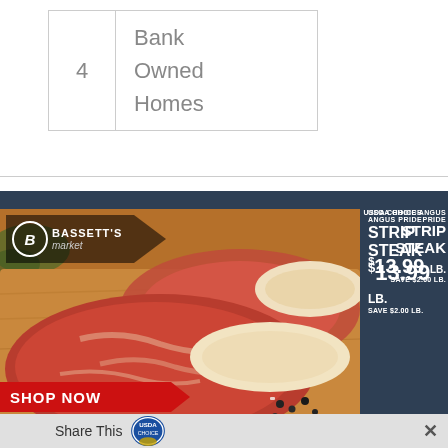|  |  |
| --- | --- |
| 4 | Bank
Owned
Homes |
[Figure (photo): Bassett's Market advertisement for USDA Choice Angus Pride Strip Steak at $13.99 LB, save $2.00 LB. Shows two raw strip steaks on a wooden cutting board with peppercorns. Red 'SHOP NOW' banner and 'VALID NOW SEPTEMBER 5TH' text at the bottom.]
Share This